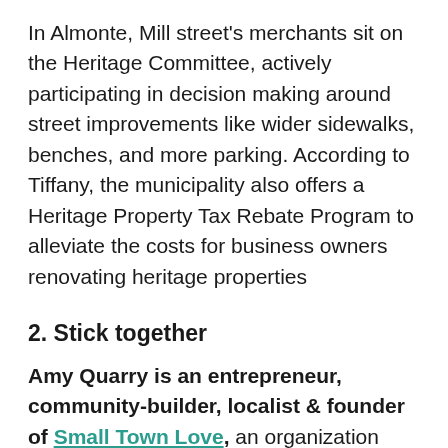In Almonte, Mill street's merchants sit on the Heritage Committee, actively participating in decision making around street improvements like wider sidewalks, benches, and more parking. According to Tiffany, the municipality also offers a Heritage Property Tax Rebate Program to alleviate the costs for business owners renovating heritage properties
2. Stick together
Amy Quarry is an entrepreneur, community-builder, localist & founder of Small Town Love, an organization helping communities connect